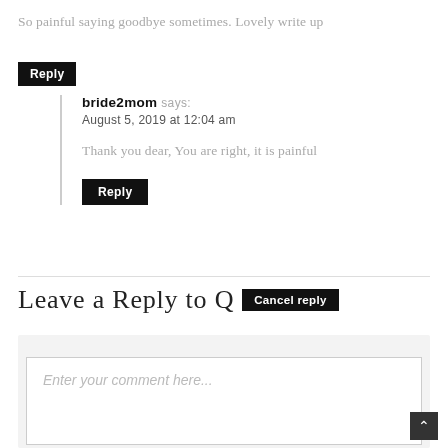So painful saying goodbye sometimes. Lovely write up
Reply
bride2mom says:
August 5, 2019 at 12:04 am
Thank you dear, You are right, it is painful
Reply
Leave a Reply to Q Cancel reply
Enter your comment here...